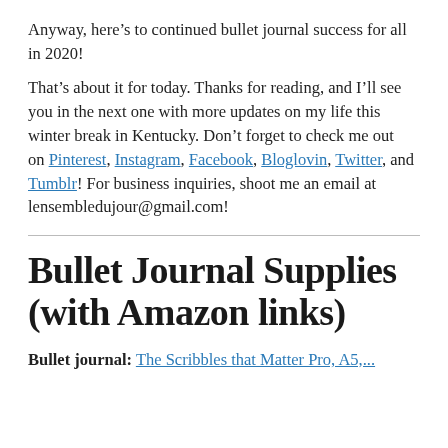Anyway, here’s to continued bullet journal success for all in 2020!
That’s about it for today. Thanks for reading, and I’ll see you in the next one with more updates on my life this winter break in Kentucky. Don’t forget to check me out on Pinterest, Instagram, Facebook, Bloglovin, Twitter, and Tumblr! For business inquiries, shoot me an email at lensembledujour@gmail.com!
Bullet Journal Supplies (with Amazon links)
Bullet journal: The Scribbles that Matter Pro, A5,...